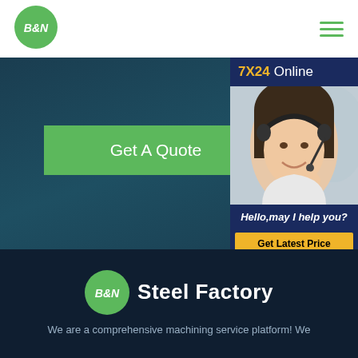[Figure (logo): B&N logo: green circle with white bold italic text B&N]
[Figure (infographic): Hamburger menu icon with three green horizontal lines]
[Figure (infographic): Hero banner with dark teal background, green Get A Quote button, and chat widget showing 7X24 Online, customer service representative photo, Hello may I help you text, and Get Latest Price button]
[Figure (logo): B&N Steel Factory logo: green circle with B&N text and Steel Factory text beside it]
We are a comprehensive machining service platform! We